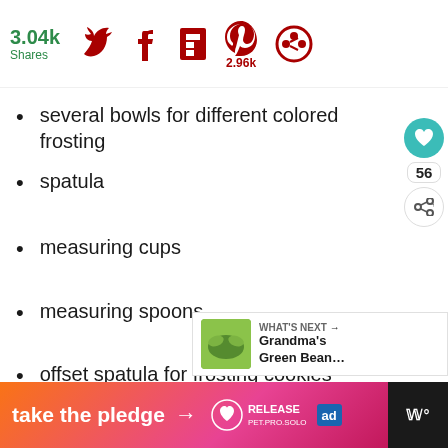3.04k Shares [Twitter icon] [Facebook icon] [Flipboard icon] [Pinterest icon] 2.96k [Share icon]
several bowls for different colored frosting
spatula
measuring cups
measuring spoons
offset spatula for frosting cookies
[Figure (other): What's Next panel showing Grandma's Green Bean... with thumbnail image]
take the pledge → RELEASE [ad] [logo]